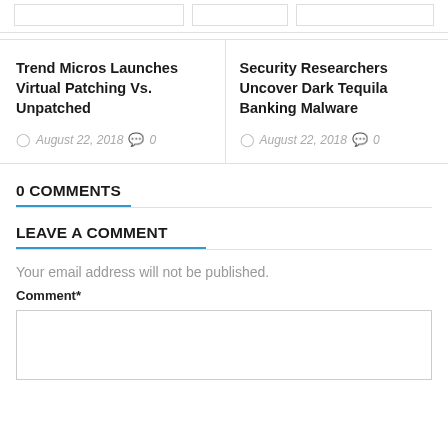[partial card stubs at top]
Trend Micros Launches Virtual Patching Vs. Unpatched
August 22, 2018   0
Security Researchers Uncover Dark Tequila Banking Malware
August 22, 2018   0
0 COMMENTS
LEAVE A COMMENT
Your email address will not be published.
Comment*